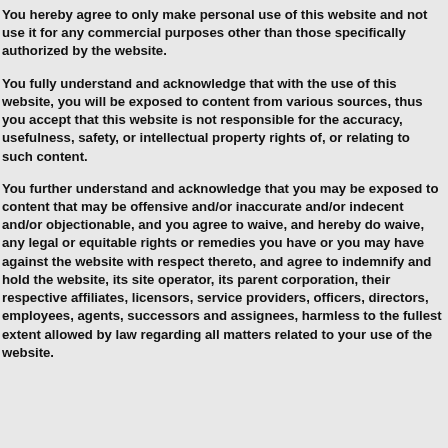You hereby agree to only make personal use of this website and not use it for any commercial purposes other than those specifically authorized by the website.
You fully understand and acknowledge that with the use of this website, you will be exposed to content from various sources, thus you accept that this website is not responsible for the accuracy, usefulness, safety, or intellectual property rights of, or relating to such content.
You further understand and acknowledge that you may be exposed to content that may be offensive and/or inaccurate and/or indecent and/or objectionable, and you agree to waive, and hereby do waive, any legal or equitable rights or remedies you have or you may have against the website with respect thereto, and agree to indemnify and hold the website, its site operator, its parent corporation, their respective affiliates, licensors, service providers, officers, directors, employees, agents, successors and assignees, harmless to the fullest extent allowed by law regarding all matters related to your use of the website.